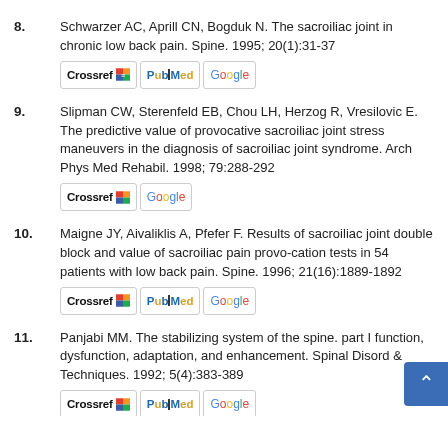8. Schwarzer AC, Aprill CN, Bogduk N. The sacroiliac joint in chronic low back pain. Spine. 1995; 20(1):31-37
9. Slipman CW, Sterenfeld EB, Chou LH, Herzog R, Vresilovic E. The predictive value of provocative sacroiliac joint stress maneuvers in the diagnosis of sacroiliac joint syndrome. Arch Phys Med Rehabil. 1998; 79:288-292
10. Maigne JY, Aivaliklis A, Pfefer F. Results of sacroiliac joint double block and value of sacroiliac pain provo-cation tests in 54 patients with low back pain. Spine. 1996; 21(16):1889-1892
11. Panjabi MM. The stabilizing system of the spine. part I function, dysfunction, adaptation, and enhancement. Spinal Disord & Techniques. 1992; 5(4):383-389